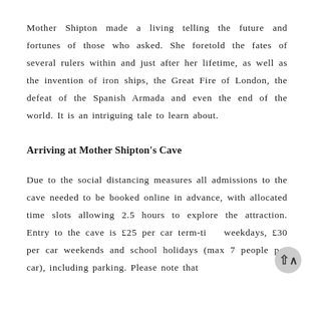Mother Shipton made a living telling the future and fortunes of those who asked. She foretold the fates of several rulers within and just after her lifetime, as well as the invention of iron ships, the Great Fire of London, the defeat of the Spanish Armada and even the end of the world. It is an intriguing tale to learn about.
Arriving at Mother Shipton's Cave
Due to the social distancing measures all admissions to the cave needed to be booked online in advance, with allocated time slots allowing 2.5 hours to explore the attraction. Entry to the cave is £25 per car term-ti weekdays, £30 per car weekends and school holidays (max 7 people per car), including parking. Please note that